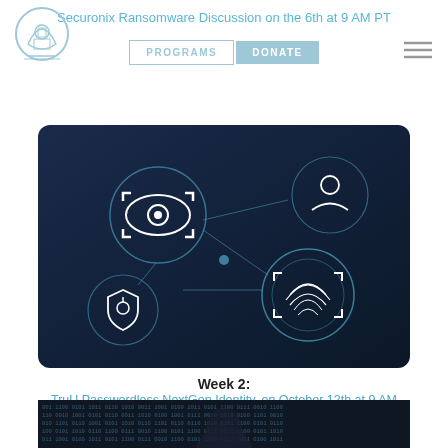Securonix Ransomware Discussion on the 6th at 9 AM PT
[Figure (screenshot): Cybersecurity themed navigation image with eye/scan icon, person icon, fingerprint icon, and shield icon connected by network lines on dark blue background]
Week 2:
TruU Passwordless NextGen Identity. on October 12th at 9 AM
Jumpstart your Zero-Trust initiatives with strong authentication on the 13th at 9 AM PT by Yubico
[Figure (photo): Hacker figure in dark hoodie against a background of green/blue binary code text]